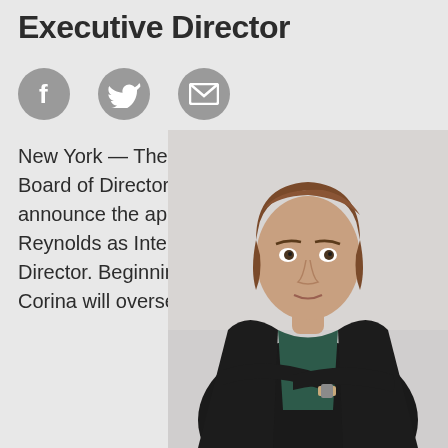Executive Director
[Figure (other): Three social media icons: Facebook (f), Twitter (bird), and email (envelope), rendered as gray circles]
New York — The Center for Book Arts Board of Directors is pleased to announce the appointment of Corina Reynolds as Interim Executive Director. Beginning in September, Corina will oversee the
[Figure (photo): Professional headshot of a woman with short brown hair, wearing a black blazer over a dark green top, arms crossed, standing against a light marble background]